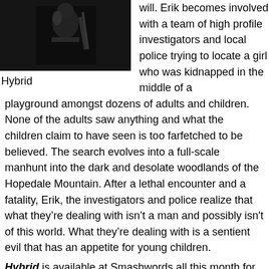[Figure (photo): Dark photo of a person in black clothing holding a weapon/sword, against a dark background]
Hybrid
will. Erik becomes involved with a team of high profile investigators and local police trying to locate a girl who was kidnapped in the middle of a playground amongst dozens of adults and children. None of the adults saw anything and what the children claim to have seen is too farfetched to be believed. The search evolves into a full-scale manhunt into the dark and desolate woodlands of the Hopedale Mountain. After a lethal encounter and a fatality, Erik, the investigators and police realize that what they’re dealing with isn’t a man and possibly isn’t of this world. What they’re dealing with is a sentient evil that has an appetite for young children.
Hybrid is available at Smashwords all this month for half off the cover price at: